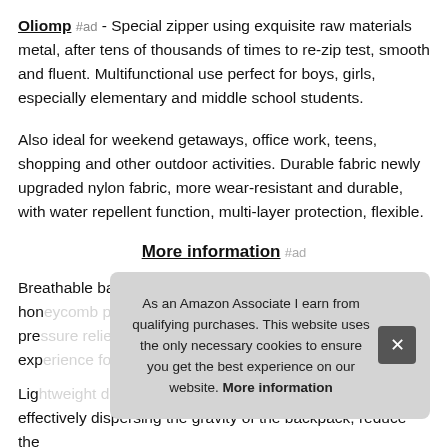Oliomp #ad - Special zipper using exquisite raw materials metal, after tens of thousands of times to re-zip test, smooth and fluent. Multifunctional use perfect for boys, girls, especially elementary and middle school students.
Also ideal for weekend getaways, office work, teens, shopping and other outdoor activities. Durable fabric newly upgraded nylon fabric, more wear-resistant and durable, with water repellent function, multi-layer protection, flexible.
More information #ad
Breathable back pad ergonomically designed "multi-hollow hon... pres... expe...
Ligh... effectively dispersing the gravity of the backpack, reduce the
As an Amazon Associate I earn from qualifying purchases. This website uses the only necessary cookies to ensure you get the best experience on our website. More information